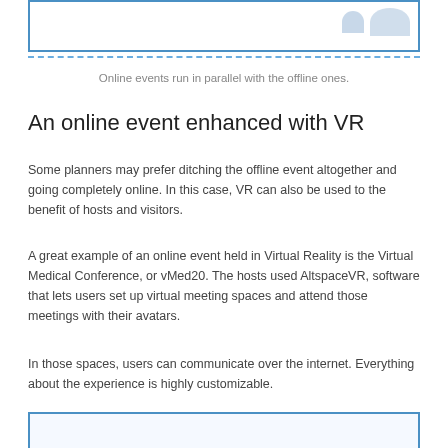[Figure (illustration): Partial image box with dashed border at the top and small avatar/profile shape icons in the upper right corner]
Online events run in parallel with the offline ones.
An online event enhanced with VR
Some planners may prefer ditching the offline event altogether and going completely online. In this case, VR can also be used to the benefit of hosts and visitors.
A great example of an online event held in Virtual Reality is the Virtual Medical Conference, or vMed20. The hosts used AltspaceVR, software that lets users set up virtual meeting spaces and attend those meetings with their avatars.
In those spaces, users can communicate over the internet. Everything about the experience is highly customizable.
[Figure (illustration): Partial image box with blue border at the bottom of the page (cut off)]